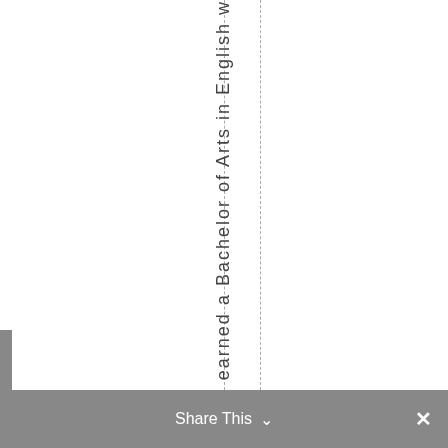earned a Bachelor of Arts in English w
Share This ∨ ✕